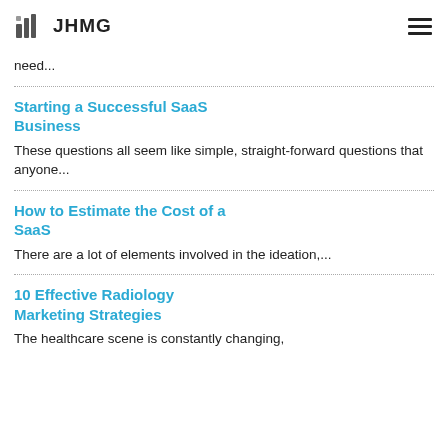JHMG
need...
Starting a Successful SaaS Business
These questions all seem like simple, straight-forward questions that anyone...
How to Estimate the Cost of a SaaS
There are a lot of elements involved in the ideation,...
10 Effective Radiology Marketing Strategies
The healthcare scene is constantly changing,